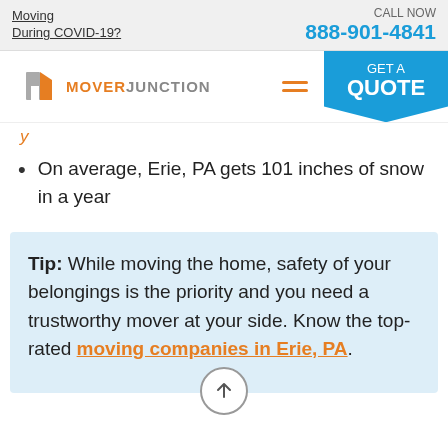Moving During COVID-19? | CALL NOW 888-901-4841
[Figure (logo): MoverJunction logo with orange and gray icon and text]
On average, Erie, PA gets 101 inches of snow in a year
Tip: While moving the home, safety of your belongings is the priority and you need a trustworthy mover at your side. Know the top-rated moving companies in Erie, PA.